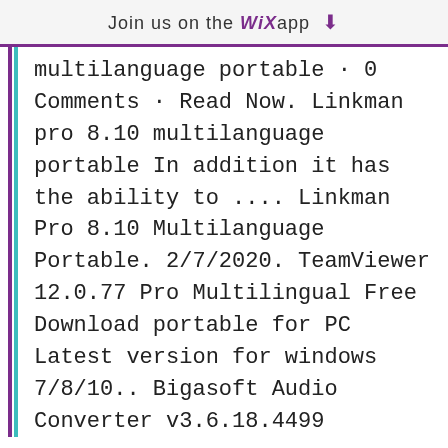Join us on the WiX app ↓
multilanguage portable · 0 Comments · Read Now. Linkman pro 8.10 multilanguage portable In addition it has the ability to .... Linkman Pro 8.10 Multilanguage Portable. 2/7/2020. TeamViewer 12.0.77 Pro Multilingual Free Download portable for PC Latest version for windows 7/8/10.. Bigasoft Audio Converter v3.6.18.4499 Multilanguage MAC OSX